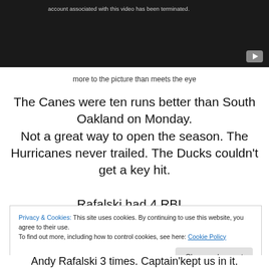[Figure (screenshot): Dark video player showing error message that account associated with the video has been terminated, with a YouTube play button icon in the bottom right corner.]
more to the picture than meets the eye
The Canes were ten runs better than South Oakland on Monday.
Not a great way to open the season. The Hurricanes never trailed. The Ducks couldn't get a key hit.
Privacy & Cookies: This site uses cookies. By continuing to use this website, you agree to their use.
To find out more, including how to control cookies, see here: Cookie Policy
Andy Rafalski 3 times. Captain'kept us in it.